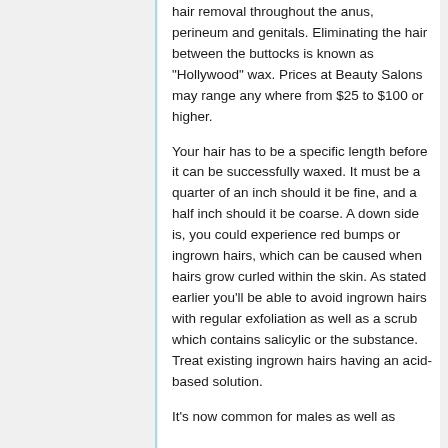hair removal throughout the anus, perineum and genitals. Eliminating the hair between the buttocks is known as "Hollywood" wax. Prices at Beauty Salons may range any where from $25 to $100 or higher.
Your hair has to be a specific length before it can be successfully waxed. It must be a quarter of an inch should it be fine, and a half inch should it be coarse. A down side is, you could experience red bumps or ingrown hairs, which can be caused when hairs grow curled within the skin. As stated earlier you'll be able to avoid ingrown hairs with regular exfoliation as well as a scrub which contains salicylic or the substance. Treat existing ingrown hairs having an acid-based solution.
It's now common for males as well as